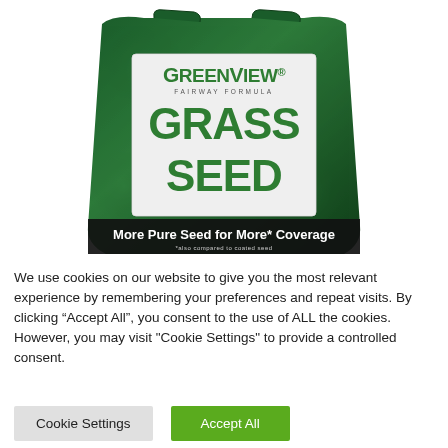[Figure (photo): GreenView Fairway Formula Grass Seed bag product photo. Dark green bag with white/silver label area. Label reads 'GreenView Fairway Formula' at top, large text 'GRASS SEED' below, and at bottom 'More Pure Seed for More* Coverage' with small text '*also compared to coated seed'.]
We use cookies on our website to give you the most relevant experience by remembering your preferences and repeat visits. By clicking “Accept All”, you consent to the use of ALL the cookies. However, you may visit "Cookie Settings" to provide a controlled consent.
Cookie Settings   Accept All